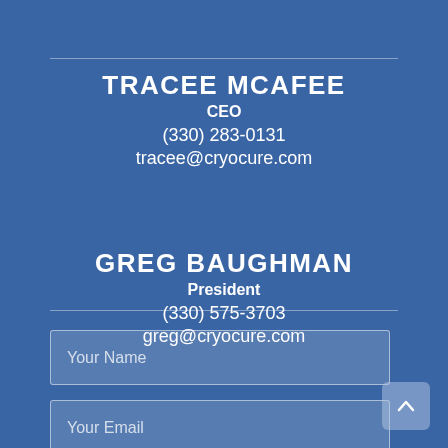TRACEE MCAFEE
CEO
(330) 283-0131
tracee@cryocure.com
GREG BAUGHMAN
President
(330) 575-3703
greg@cryocure.com
Your Name
Your Email